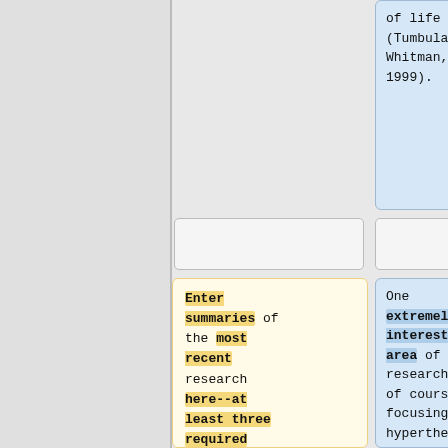of life (Tumbula and Whitman, 1999).
Enter summaries of the most recent research here--at least three required
One extremely interesting area of research is of course focusing on hyperthermophillic enzymes that ''Methanococcus jannaschii'', as well as other methanogenia